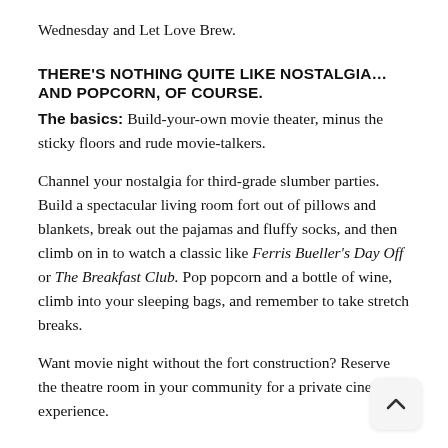Wednesday and Let Love Brew.
THERE'S NOTHING QUITE LIKE NOSTALGIA…AND POPCORN, OF COURSE.
The basics: Build-your-own movie theater, minus the sticky floors and rude movie-talkers.
Channel your nostalgia for third-grade slumber parties. Build a spectacular living room fort out of pillows and blankets, break out the pajamas and fluffy socks, and then climb on in to watch a classic like Ferris Bueller's Day Off or The Breakfast Club. Pop popcorn and a bottle of wine, climb into your sleeping bags, and remember to take stretch breaks.
Want movie night without the fort construction? Reserve the theatre room in your community for a private cinema experience.